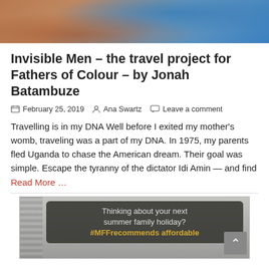[Figure (photo): Top portion of a photo showing people near water, partial view, cropped at top of page]
Invisible Men – the travel project for Fathers of Colour – by Jonah Batambuze
February 25, 2019  Ana Swartz  Leave a comment
Travelling is in my DNA Well before I exited my mother's womb, traveling was a part of my DNA. In 1975, my parents fled Uganda to chase the American dream. Their goal was simple. Escape the tyranny of the dictator Idi Amin — and find Read More ...
[Figure (photo): Bottom image with dark overlay text box reading 'Thinking about your next summer family holiday? #MFFrecommends affordable' and a scroll-to-top button on the right]